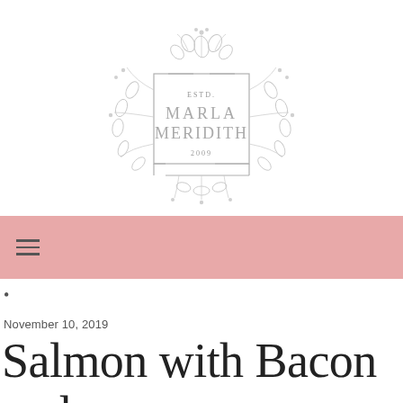[Figure (logo): Marla Meridith logo: decorative floral wreath with botanical illustrations surrounding a rectangular frame. Inside text reads ESTD. MARLA MERIDITH 2009 in serif/spaced lettering.]
≡ (hamburger menu icon) navigation bar with pink background
•
November 10, 2019
Salmon with Bacon and Lentils